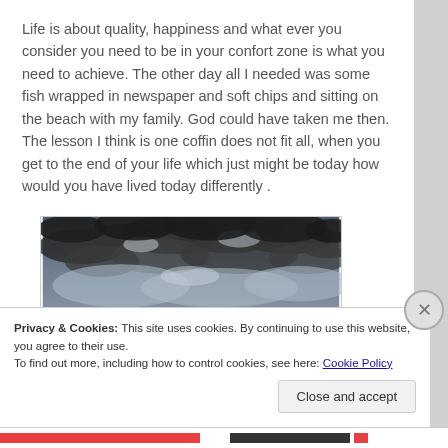Life is about quality, happiness and what ever you consider you need to be in your confort zone is what you need to achieve. The other day all I needed was some fish wrapped in newspaper and soft chips and sitting on the beach with my family. God could have taken me then. The lesson I think is one coffin does not fit all, when you get to the end of your life which just might be today how would you have lived today differently .
[Figure (photo): Black and white photograph of a cloudy sky with dramatic cloud formations]
Privacy & Cookies: This site uses cookies. By continuing to use this website, you agree to their use.
To find out more, including how to control cookies, see here: Cookie Policy
Close and accept